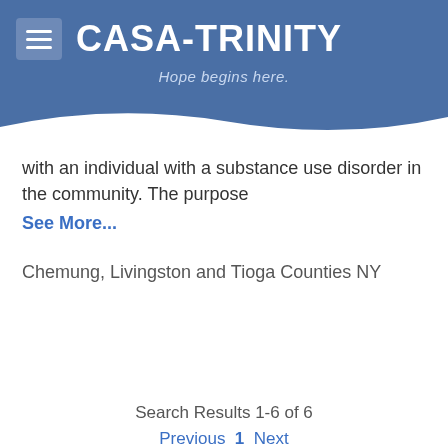CASA-TRINITY – Hope begins here.
with an individual with a substance use disorder in the community. The purpose
See More...
Chemung, Livingston and Tioga Counties NY
Search Results 1-6 of 6
Previous  1  Next